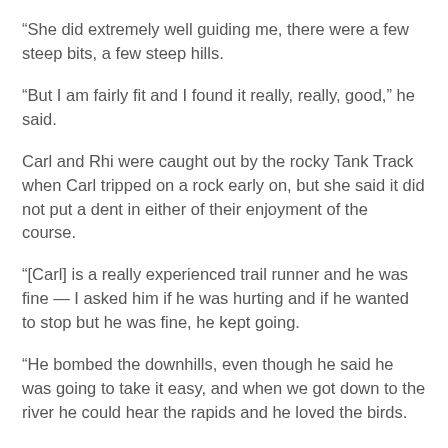“She did extremely well guiding me, there were a few steep bits, a few steep hills.
“But I am fairly fit and I found it really, really, good,” he said.
Carl and Rhi were caught out by the rocky Tank Track when Carl tripped on a rock early on, but she said it did not put a dent in either of their enjoyment of the course.
“[Carl] is a really experienced trail runner and he was fine — I asked him if he was hurting and if he wanted to stop but he was fine, he kept going.
“He bombed the downhills, even though he said he was going to take it easy, and when we got down to the river he could hear the rapids and he loved the birds.
“It is stunning out there, even for someone with vision